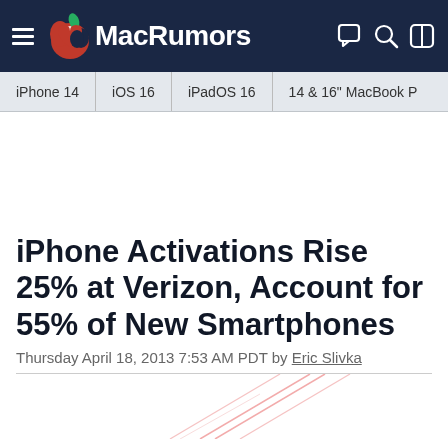MacRumors
iPhone 14  |  iOS 16  |  iPadOS 16  |  14 & 16" MacBook P
iPhone Activations Rise 25% at Verizon, Account for 55% of New Smartphones
Thursday April 18, 2013 7:53 AM PDT by Eric Slivka
[Figure (other): Partial view of a graph or chart image at the bottom of the page, showing pink/red diagonal lines on white background]